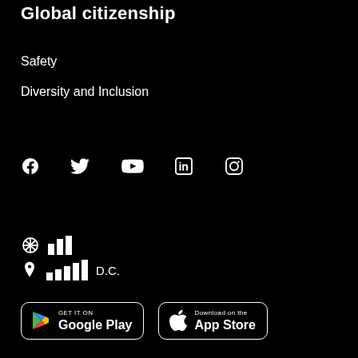Global citizenship
Safety
Diversity and Inclusion
[Figure (infographic): Social media icons row: Facebook, Twitter, YouTube, LinkedIn, Instagram]
[Figure (logo): Crosshatch/wheel icon with bar chart logo]
[Figure (logo): Location pin icon with bar chart logo and D.C. text]
[Figure (infographic): Google Play and App Store download buttons]